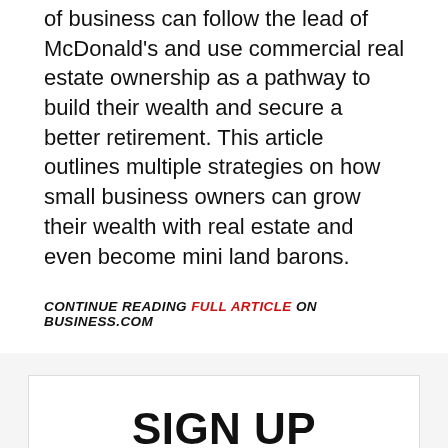of business can follow the lead of McDonald's and use commercial real estate ownership as a pathway to build their wealth and secure a better retirement. This article outlines multiple strategies on how small business owners can grow their wealth with real estate and even become mini land barons.
CONTINUE READING FULL ARTICLE ON BUSINESS.COM
SIGN UP FOR INSIGHTS & ALERTS